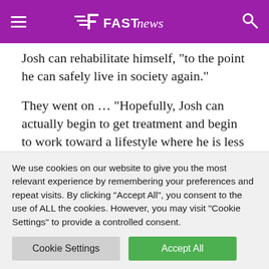Fast News
Josh can rehabilitate himself, “to the point he can safely live in society again.”
They went on … “Hopefully, Josh can actually begin to get treatment and begin to work toward a lifestyle where he is less likely to reoffend. If for nothing else, the notoriety of this case has hopefully contributed to the deterrence of potential offenders and will help
We use cookies on our website to give you the most relevant experience by remembering your preferences and repeat visits. By clicking “Accept All”, you consent to the use of ALL the cookies. However, you may visit “Cookie Settings” to provide a controlled consent.